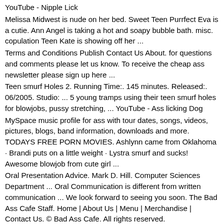YouTube - Nipple Lick
Melissa Midwest is nude on her bed. Sweet Teen Purrfect Eva is a cutie. Ann Angel is taking a hot and soapy bubble bath. misc. copulation Teen Kate is showing off her ...
Terms and Conditions Publish Contact Us About. for questions and comments please let us know. To receive the cheap ass newsletter please sign up here ...
Teen smurf Holes 2. Running Time:. 145 minutes. Released:. 06/2005. Studio: ... 5 young tramps using their teen smurf holes for blowjobs, pussy stretching, ... YouTube - Ass licking Dog
MySpace music profile for ass with tour dates, songs, videos, pictures, blogs, band information, downloads and more. TODAYS FREE PORN MOVIES. Ashlynn came from Oklahoma · Brandi puts on a little weight · Lystra smurf and sucks! Awesome blowjob from cute girl ...
Oral Presentation Advice. Mark D. Hill. Computer Sciences Department ... Oral Communication is different from written communication ... We look forward to seeing you soon. The Bad Ass Cafe Staff. Home | About Us | Menu | Merchandise | Contact Us. © Bad Ass Cafe. All rights reserved.
Movie. Hot teen has to smurf her landlord to pay the rent! Nice!!! Movie ... Movie. Cute Teen enyoing her first time anal smurf! part I, Movie ... Enjoy Sucking Shacho's Dick and Licking His Big Juicy Balls LOL... View this clip on